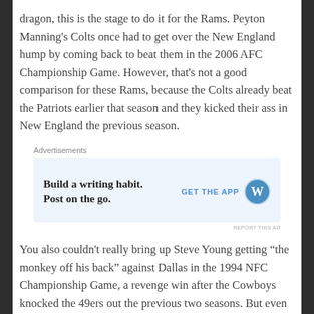dragon, this is the stage to do it for the Rams. Peyton Manning's Colts once had to get over the New England hump by coming back to beat them in the 2006 AFC Championship Game. However, that's not a good comparison for these Rams, because the Colts already beat the Patriots earlier that season and they kicked their ass in New England the previous season.
[Figure (other): Advertisement banner for WordPress app: 'Build a writing habit. Post on the go.' with GET THE APP button and WordPress logo]
You also couldn't really bring up Steve Young getting “the monkey off his back” against Dallas in the 1994 NFC Championship Game, a revenge win after the Cowboys knocked the 49ers out the previous two seasons. But even that season in Week 11, the 49ers